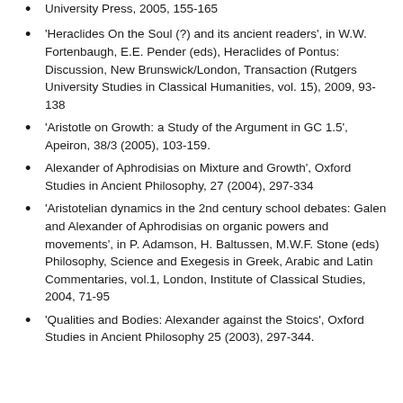University Press, 2005, 155-165
'Heraclides On the Soul (?) and its ancient readers', in W.W. Fortenbaugh, E.E. Pender (eds), Heraclides of Pontus: Discussion, New Brunswick/London, Transaction (Rutgers University Studies in Classical Humanities, vol. 15), 2009, 93-138
'Aristotle on Growth: a Study of the Argument in GC 1.5', Apeiron, 38/3 (2005), 103-159.
Alexander of Aphrodisias on Mixture and Growth', Oxford Studies in Ancient Philosophy, 27 (2004), 297-334
'Aristotelian dynamics in the 2nd century school debates: Galen and Alexander of Aphrodisias on organic powers and movements', in P. Adamson, H. Baltussen, M.W.F. Stone (eds) Philosophy, Science and Exegesis in Greek, Arabic and Latin Commentaries, vol.1, London, Institute of Classical Studies, 2004, 71-95
'Qualities and Bodies: Alexander against the Stoics', Oxford Studies in Ancient Philosophy 25 (2003), 297-344.